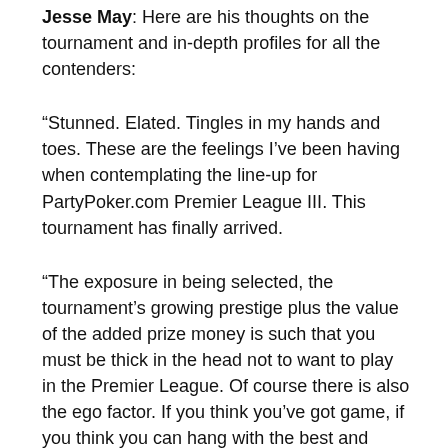Jesse May: Here are his thoughts on the tournament and in-depth profiles for all the contenders:
“stunned. Elated. Tingles in my hands and toes. These are the feelings I’ve been having when contemplating the line-up for PartyPoker.com Premier League III. This tournament has finally arrived.
“The exposure in being selected, the tournament’s growing prestige plus the value of the added prize money is such that you must be thick in the head not to want to play in the Premier League. Of course there is also the ego factor. If you think you’ve got game, if you think you can hang with the best and perhaps even dominate them, the Premier League is the arena.